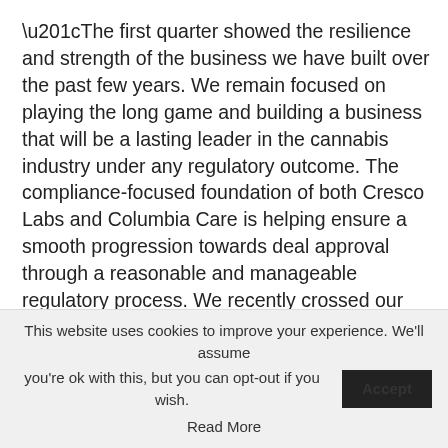“The first quarter showed the resilience and strength of the business we have built over the past few years. We remain focused on playing the long game and building a business that will be a lasting leader in the cannabis industry under any regulatory outcome. The compliance-focused foundation of both Cresco Labs and Columbia Care is helping ensure a smooth progression towards deal approval through a reasonable and manageable regulatory process. We recently crossed our first milestone by passing the federal HSR review process on May 16 and we do not expect state regulatory approvals to be an issue for our closing timeline.” Mr. Bachtell
This website uses cookies to improve your experience. We'll assume you're ok with this, but you can opt-out if you wish. Accept
Read More